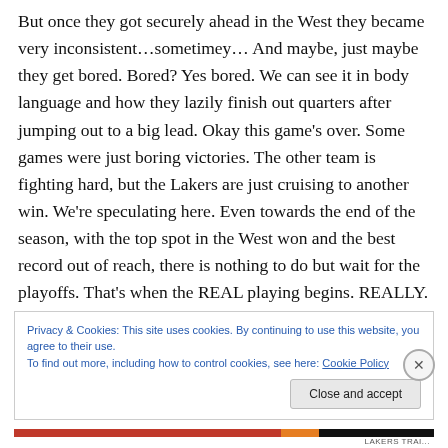But once they got securely ahead in the West they became very inconsistent…sometimey… And maybe, just maybe they get bored. Bored? Yes bored. We can see it in body language and how they lazily finish out quarters after jumping out to a big lead. Okay this game's over. Some games were just boring victories. The other team is fighting hard, but the Lakers are just cruising to another win. We're speculating here. Even towards the end of the season, with the top spot in the West won and the best record out of reach, there is nothing to do but wait for the playoffs. That's when the REAL playing begins. REALLY.
Privacy & Cookies: This site uses cookies. By continuing to use this website, you agree to their use.
To find out more, including how to control cookies, see here: Cookie Policy
Close and accept